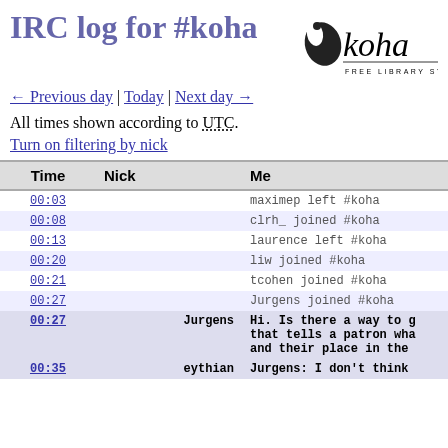IRC log for #koha
[Figure (logo): Koha Free Library System logo with bird silhouette]
← Previous day | Today | Next day →
All times shown according to UTC.
Turn on filtering by nick
| Time | Nick | Message |
| --- | --- | --- |
| 00:03 |  | maximep left #koha |
| 00:08 |  | clrh_ joined #koha |
| 00:13 |  | laurence left #koha |
| 00:20 |  | liw joined #koha |
| 00:21 |  | tcohen joined #koha |
| 00:27 |  | Jurgens joined #koha |
| 00:27 | Jurgens | Hi. Is there a way to g... that tells a patron wha... and their place in the ... |
| 00:35 | eythian | Jurgens: I don't think ... |